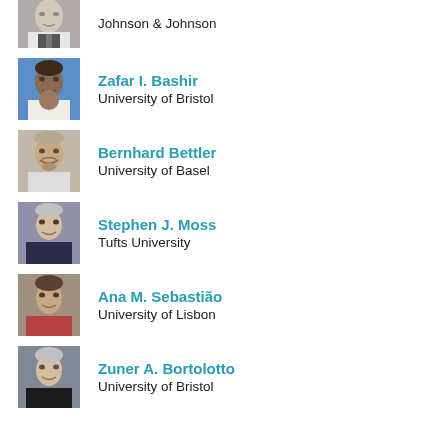[Figure (photo): Headshot of a man in suit, black and white photo, partially cropped at top]
Johnson & Johnson
[Figure (photo): Headshot of Zafar I. Bashir, smiling man, blue background]
Zafar I. Bashir
University of Bristol
[Figure (photo): Headshot of Bernhard Bettler, man with beard]
Bernhard Bettler
University of Basel
[Figure (photo): Headshot of Stephen J. Moss, older man in dark shirt, lab background]
Stephen J. Moss
Tufts University
[Figure (photo): Headshot of Ana M. Sebastião, woman, bookshelves in background]
Ana M. Sebastião
University of Lisbon
[Figure (photo): Headshot of Zuner A. Bortolotto, older woman, bookshelves in background]
Zuner A. Bortolotto
University of Bristol